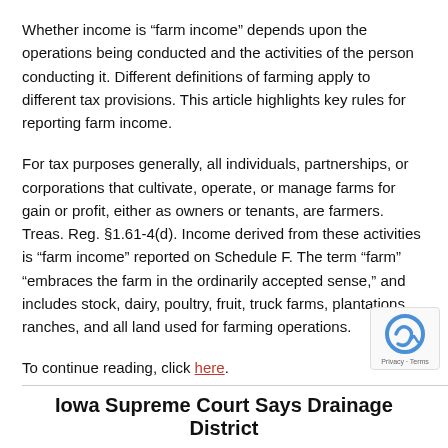Whether income is “farm income” depends upon the operations being conducted and the activities of the person conducting it. Different definitions of farming apply to different tax provisions. This article highlights key rules for reporting farm income.
For tax purposes generally, all individuals, partnerships, or corporations that cultivate, operate, or manage farms for gain or profit, either as owners or tenants, are farmers. Treas. Reg. §1.61-4(d). Income derived from these activities is “farm income” reported on Schedule F. The term “farm” “embraces the farm in the ordinarily accepted sense,” and includes stock, dairy, poultry, fruit, truck farms, plantations, ranches, and all land used for farming operations.
To continue reading, click here.
Iowa Supreme Court Says Drainage District